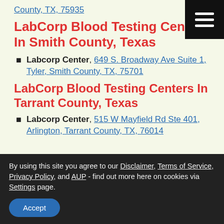County, TX, 75935
LabCorp Blood Testing Centers In Smith County, Texas
Labcorp Center, 649 S. Broadway Ave Suite 1, Tyler, Smith County, TX, 75701
LabCorp Blood Testing Centers In Tarrant County, Texas
Labcorp Center, 515 W Mayfield Rd Ste 401, Arlington, Tarrant County, TX, 76014
By using this site you agree to our Disclaimer, Terms of Service, Privacy Policy, and AUP - find out more here on cookies via Settings page.